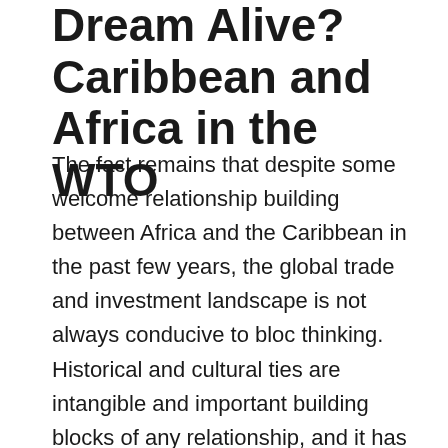Dream Alive? Caribbean and Africa in the WTO
The fact remains that despite some welcome relationship building between Africa and the Caribbean in the past few years, the global trade and investment landscape is not always conducive to bloc thinking. Historical and cultural ties are intangible and important building blocks of any relationship, and it has led to a level of respect between regions and negotiators over the years that have to be acknowledged. But what happens when commerce overtakes culture and investment opportunities overtake history? The act of multilateral negotiation has never truly confronted how the inequities of the real world are brought to the negotiating table. It will have to address that, as developing countries themselves will need to start framing a response to what happens when the competition of the real world also impacts their well-